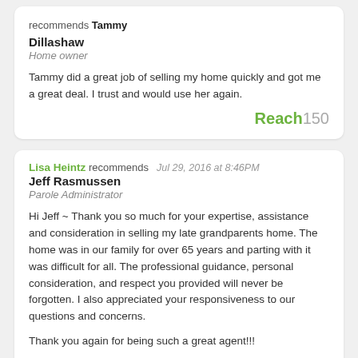recommends Tammy Dillashaw
Home owner

Tammy did a great job of selling my home quickly and got me a great deal. I trust and would use her again.
[Figure (logo): Reach150 logo in green and gray]
Lisa Heintz recommends  Jul 29, 2016 at 8:46PM
Jeff Rasmussen
Parole Administrator

Hi Jeff ~ Thank you so much for your expertise, assistance and consideration in selling my late grandparents home. The home was in our family for over 65 years and parting with it was difficult for all. The professional guidance, personal consideration, and respect you provided will never be forgotten. I also appreciated your responsiveness to our questions and concerns.

Thank you again for being such a great agent!!!
[Figure (logo): Reach150 logo in green and gray]